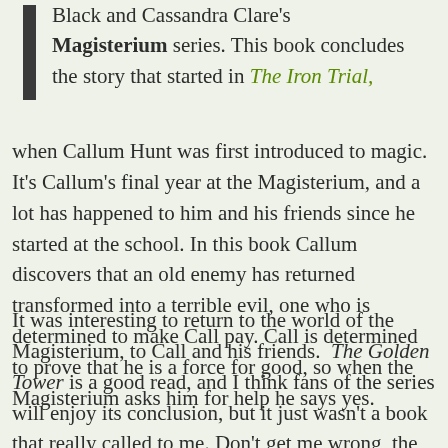Black and Cassandra Clare's Magisterium series. This book concludes the story that started in The Iron Trial, when Callum Hunt was first introduced to magic. It's Callum's final year at the Magisterium, and a lot has happened to him and his friends since he started at the school. In this book Callum discovers that an old enemy has returned transformed into a terrible evil, one who is determined to make Call pay. Call is determined to prove that he is a force for good, so when the Magisterium asks him for help he says yes.
It was interesting to return to the world of the Magisterium, to Call and his friends. The Golden Tower is a good read, and I think fans of the series will enjoy its conclusion, but it just wasn't a book that really called to me. Don't get me wrong, the story is